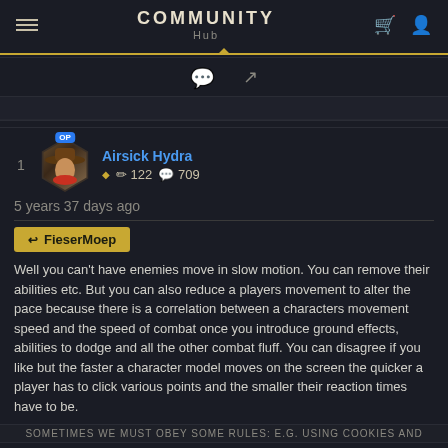COMMUNITY Hub
Airsick Hydra  122  709
5 years 37 days ago
↩ FieserMoep
Well you can't have enemies move in slow motion. You can remove their abilities etc. But you can also reduce a players movement to alter the pace because there is a correlation between a characters movement speed and the speed of combat once you introduce ground effects, abilities to dodge and all the other combat fluff. You can disagree if you like but the faster a character model moves on the screen the quicker a player has to click various points and the smaller their reaction times have to be.
Sometimes we must obey some rules: e.g. using cookies and We will be getting a turotial but my point is that that its standard within any game to gradually ramp up speed within a game. People moving at this base speed for the first few hours when they buy the game won't even know what the enemies do or what the hell is going on, so 10 missions with not so much movement speed isn't going to murder them. I'd accept that perhaps it